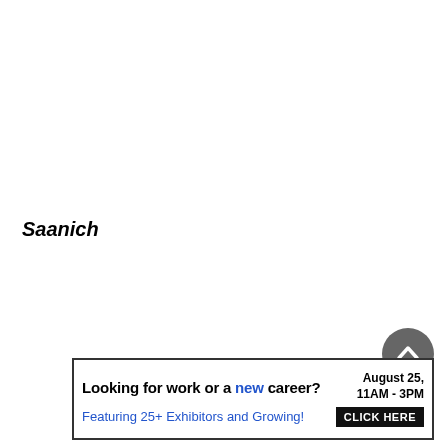Saanich
[Figure (other): Back to top arrow button circle]
[Figure (infographic): Advertisement banner: Looking for work or a new career? August 25, 11AM - 3PM. Featuring 25+ Exhibitors and Growing! CLICK HERE]